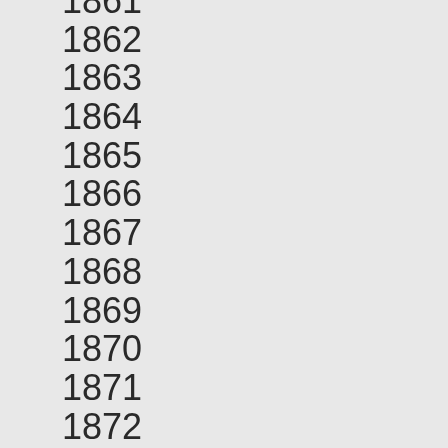1861
1862
1863
1864
1865
1866
1867
1868
1869
1870
1871
1872
1873
1874
1875